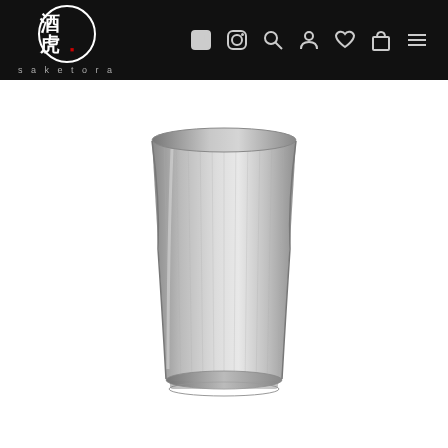Saketora – navigation header with logo and icons (Facebook, Instagram, Search, Account, Wishlist, Cart, Menu)
[Figure (photo): A silver/pewter sake cup with a cylindrical hourglass shape, featuring vertical line texture engravings, photographed on a white background. The cup is metallic and reflects light from the top rim.]